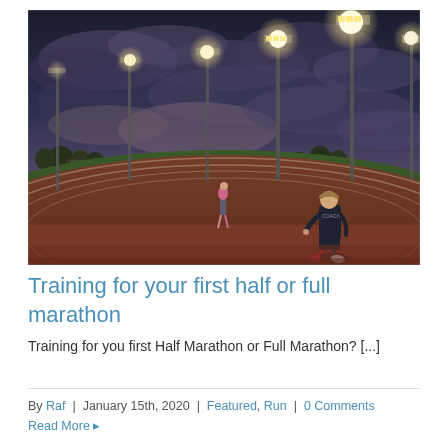[Figure (photo): Athletes running on a red track at dusk/evening under dramatic cloudy sky with stadium lights illuminated. One runner in dark athletic clothes is prominent in the foreground right, another runner in pink is visible in the mid-distance. Green infield grass and tall light poles visible.]
Training for your first half or full marathon
Training for you first Half Marathon or Full Marathon? [...]
By Raf | January 15th, 2020 | Featured, Run | 0 Comments
Read More ▷